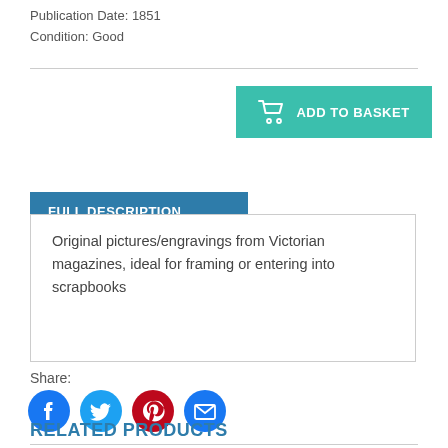Publication Date: 1851
Condition: Good
[Figure (other): ADD TO BASKET button with shopping cart icon, teal/turquoise background]
FULL DESCRIPTION
Original pictures/engravings from Victorian magazines, ideal for framing or entering into scrapbooks
Share:
[Figure (other): Social media share icons: Facebook (blue circle), Twitter (light blue circle), Pinterest (dark red circle), Email (blue circle)]
RELATED PRODUCTS